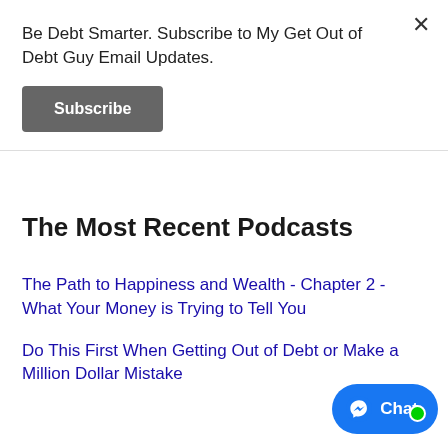Be Debt Smarter. Subscribe to My Get Out of Debt Guy Email Updates.
Subscribe
The Most Recent Podcasts
The Path to Happiness and Wealth - Chapter 2 - What Your Money is Trying to Tell You
Do This First When Getting Out of Debt or Make a Million Dollar Mistake